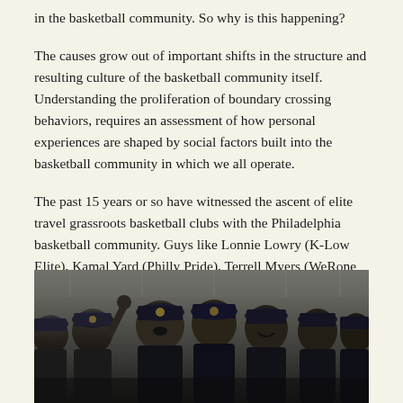in the basketball community. So why is this happening?
The causes grow out of important shifts in the structure and resulting culture of the basketball community itself. Understanding the proliferation of boundary crossing behaviors, requires an assessment of how personal experiences are shaped by social factors built into the basketball community in which we all operate.
The past 15 years or so have witnessed the ascent of elite travel grassroots basketball clubs with the Philadelphia basketball community. Guys like Lonnie Lowry (K-Low Elite), Kamal Yard (Philly Pride), Terrell Myers (WeRone Hoops), Rob Brown (Team Final) and Paul Gripper (Team Phenom) have at various times assembled groups of highly talented youngsters and barnstormed across the country with varying degrees of success. The opportunity to play in very nice venues against the top players in the country is, understandably, very attractive to youngsters and their parents.
[Figure (photo): A group photo of young men wearing matching dark baseball caps, celebrating, some making hand gestures, taken in what appears to be an indoor arena or gymnasium setting.]